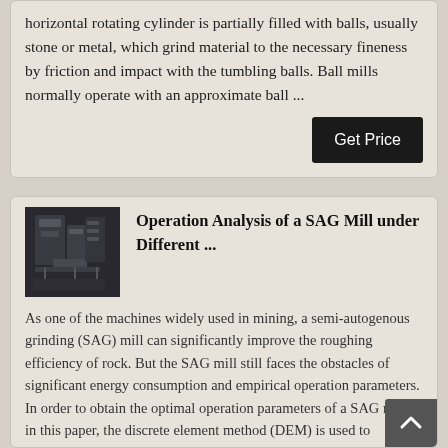horizontal rotating cylinder is partially filled with balls, usually stone or metal, which grind material to the necessary fineness by friction and impact with the tumbling balls. Ball mills normally operate with an approximate ball ...
Get Price
[Figure (photo): Industrial mining equipment photo showing a large SAG mill machine in a facility]
Operation Analysis of a SAG Mill under Different ...
As one of the machines widely used in mining, a semi-autogenous grinding (SAG) mill can significantly improve the roughing efficiency of rock. But the SAG mill still faces the obstacles of significant energy consumption and empirical operation parameters. In order to obtain the optimal operation parameters of a SAG mill, in this paper, the discrete element method (DEM) is used to simulate th